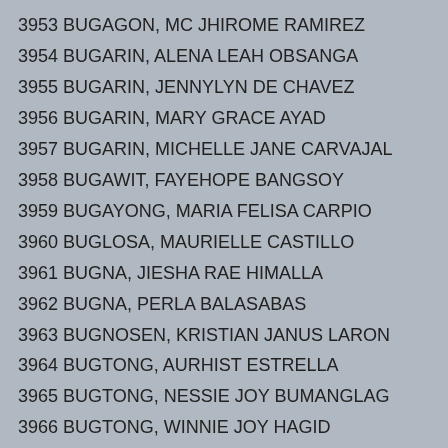3953 BUGAGON, MC JHIROME RAMIREZ
3954 BUGARIN, ALENA LEAH OBSANGA
3955 BUGARIN, JENNYLYN DE CHAVEZ
3956 BUGARIN, MARY GRACE AYAD
3957 BUGARIN, MICHELLE JANE CARVAJAL
3958 BUGAWIT, FAYEHOPE BANGSOY
3959 BUGAYONG, MARIA FELISA CARPIO
3960 BUGLOSA, MAURIELLE CASTILLO
3961 BUGNA, JIESHA RAE HIMALLA
3962 BUGNA, PERLA BALASABAS
3963 BUGNOSEN, KRISTIAN JANUS LARON
3964 BUGTONG, AURHIST ESTRELLA
3965 BUGTONG, NESSIE JOY BUMANGLAG
3966 BUGTONG, WINNIE JOY HAGID
3967 BUGUINA, REMELY ZALUN
3968 BUGUINA, SHAYNE MARIE HIPOLITO
3969 BUHANGIN, JOVIT JON HAGAD
3970 BUHAWE, MILJEN JADE HOLOTBA
3971 BUHAY, KAMILLE LIZA MENDAROS
3972 BUHAYAN, DARYLL DANN ADLAON
3973 BUHIAN, ELLA KRYSTEL CABETINGAN
3974 BUHIAN, MARY LOU GALLEROS